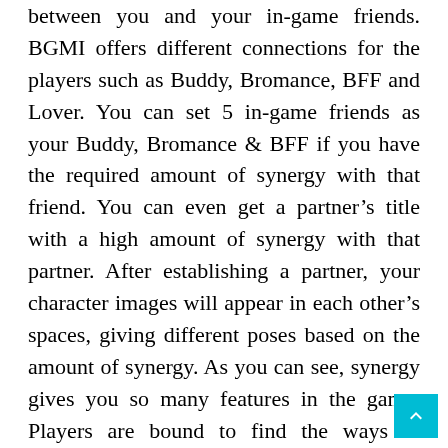between you and your in-game friends. BGMI offers different connections for the players such as Buddy, Bromance, BFF and Lover. You can set 5 in-game friends as your Buddy, Bromance & BFF if you have the required amount of synergy with that friend. You can even get a partner's title with a high amount of synergy with that partner. After establishing a partner, your character images will appear in each other's spaces, giving different poses based on the amount of synergy. As you can see, synergy gives you so many features in the game. Players are bound to find the ways to increase synergy in BGMI.